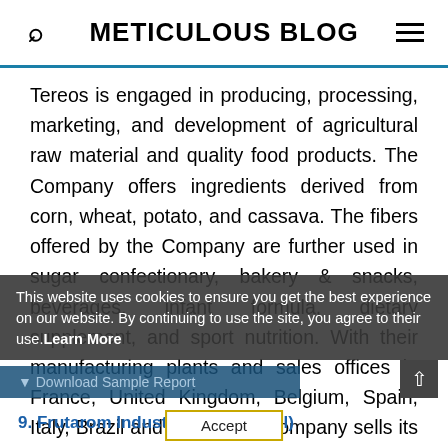METICULOUS BLOG
Tereos is engaged in producing, processing, marketing, and development of agricultural raw material and quality food products. The Company offers ingredients derived from corn, wheat, potato, and cassava. The fibers offered by the Company are further used in sugar confectionary, bakery & snacks, beverages, infant formula, dietary supplement, and sport nutrition. With their manufacturing plants and sales offices in France, United Kingdom, Belgium, Spain, Italy, Brazil and China, the Company sells its products across the globe.
This website uses cookies to ensure you get the best experience on our website. By continuing to use the site, you agree to their use.Learn More
Download Sample Report
9. Frutarom Industries Ltd. (Israel)
Accept